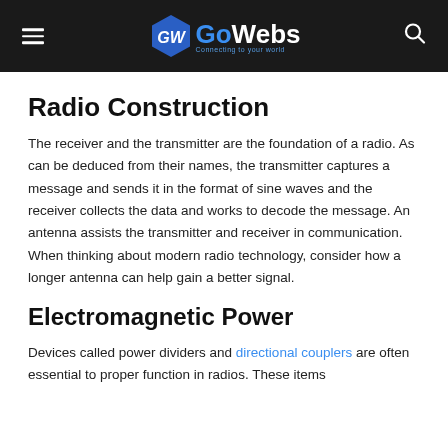GoWebs — Connecting to your world
Radio Construction
The receiver and the transmitter are the foundation of a radio. As can be deduced from their names, the transmitter captures a message and sends it in the format of sine waves and the receiver collects the data and works to decode the message. An antenna assists the transmitter and receiver in communication. When thinking about modern radio technology, consider how a longer antenna can help gain a better signal.
Electromagnetic Power
Devices called power dividers and directional couplers are often essential to proper function in radios. These items